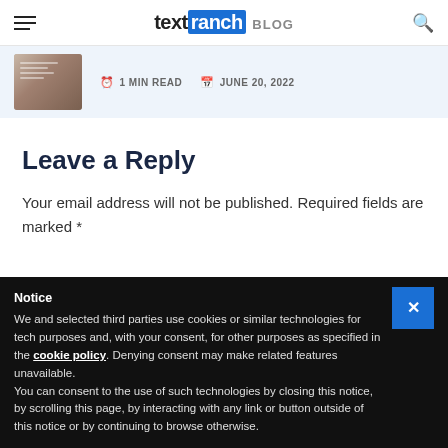text ranch BLOG
[Figure (photo): Thumbnail image of handwritten letter on a desk, with article metadata showing 1 MIN READ and JUNE 20, 2022]
Leave a Reply
Your email address will not be published. Required fields are marked *
Notice
We and selected third parties use cookies or similar technologies for technical purposes and, with your consent, for other purposes as specified in the cookie policy. Denying consent may make related features unavailable.
You can consent to the use of such technologies by closing this notice, by scrolling this page, by interacting with any link or button outside of this notice or by continuing to browse otherwise.